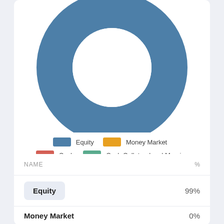[Figure (donut-chart): ]
| NAME | % |
| --- | --- |
| Equity | 99% |
| Money Market | 0% |